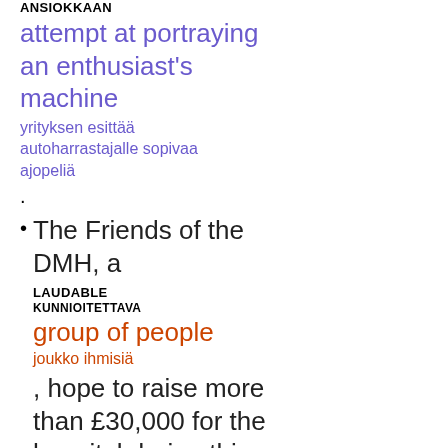ANSIOKKAAN
attempt at portraying an enthusiast's machine
yrityksen esittää autoharrastajalle sopivaa ajopeliä
.
The Friends of the DMH, a LAUDABLE KUNNIOITETTAVA group of people joukko ihmisiä , hope to raise more than £30,000 for the hospital during this financial year.
FEE
behavior (info)
degree (info)
evaluee (info)
verb_chain